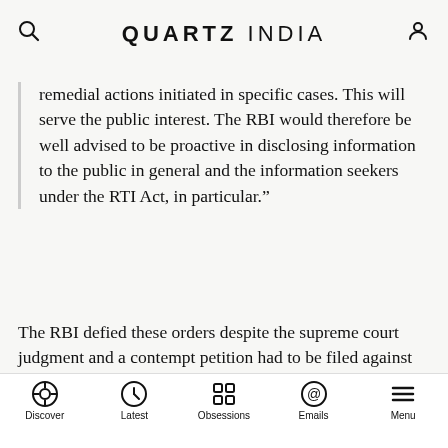QUARTZ INDIA
remedial actions initiated in specific cases. This will serve the public interest. The RBI would therefore be well advised to be proactive in disclosing information to the public in general and the information seekers under the RTI Act, in particular.”
The RBI defied these orders despite the supreme court judgment and a contempt petition had to be filed against it.
[Figure (other): Advertisement banner showing GIZMODO logo]
Discover | Latest | Obsessions | Emails | Menu